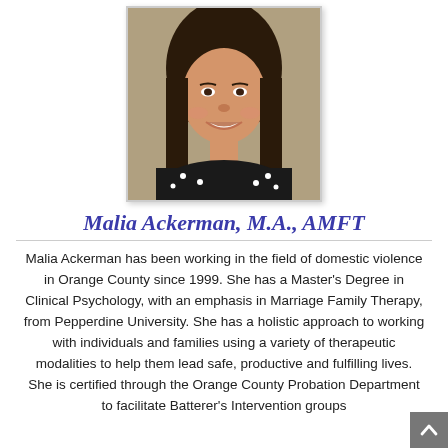[Figure (photo): Headshot photo of Malia Ackerman, a woman with long dark hair, smiling, wearing a black top with white polka dots, against a neutral background.]
Malia Ackerman, M.A., AMFT
Malia Ackerman has been working in the field of domestic violence in Orange County since 1999. She has a Master’s Degree in Clinical Psychology, with an emphasis in Marriage Family Therapy, from Pepperdine University. She has a holistic approach to working with individuals and families using a variety of therapeutic modalities to help them lead safe, productive and fulfilling lives. She is certified through the Orange County Probation Department to facilitate Batterer’s Intervention groups